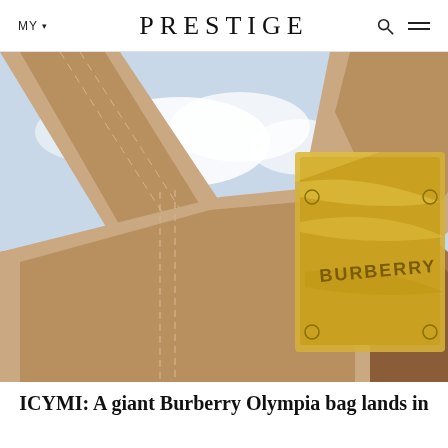MY ▾  PRESTIGE
[Figure (photo): Close-up upward-angle photograph of a giant Burberry Olympia bag made of tan/brown leather with visible stitching detail and a large gold metallic clasp/buckle with BURBERRY text, set against a bright cloudy sky background.]
ICYMI: A giant Burberry Olympia bag lands in